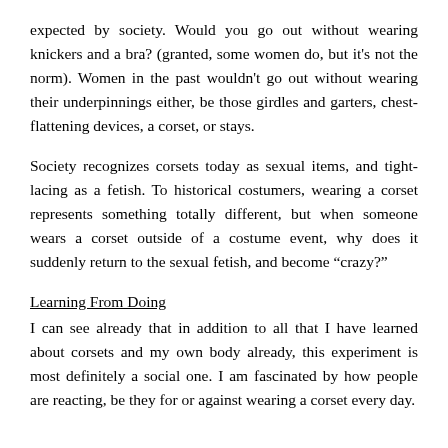expected by society.  Would you go out without wearing knickers and a bra? (granted, some women do, but it's not the norm).  Women in the past wouldn't go out without wearing their underpinnings either, be those girdles and garters, chest-flattening devices, a corset, or stays.
Society recognizes corsets today as sexual items, and tight-lacing as a fetish.  To historical costumers, wearing a corset represents something totally different, but when someone wears a corset outside of a costume event, why does it suddenly return to the sexual fetish, and become “crazy?”
Learning From Doing
I can see already that in addition to all that I have learned about corsets and my own body already, this experiment is most definitely a social one.  I am fascinated by how people are reacting, be they for or against wearing a corset every day.